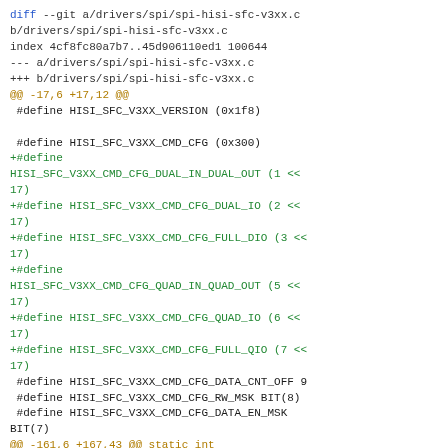diff --git a/drivers/spi/spi-hisi-sfc-v3xx.c b/drivers/spi/spi-hisi-sfc-v3xx.c
index 4cf8fc80a7b7..45d906110ed1 100644
--- a/drivers/spi/spi-hisi-sfc-v3xx.c
+++ b/drivers/spi/spi-hisi-sfc-v3xx.c
@@ -17,6 +17,12 @@
 #define HISI_SFC_V3XX_VERSION (0x1f8)

 #define HISI_SFC_V3XX_CMD_CFG (0x300)
+#define HISI_SFC_V3XX_CMD_CFG_DUAL_IN_DUAL_OUT (1 << 17)
+#define HISI_SFC_V3XX_CMD_CFG_DUAL_IO (2 << 17)
+#define HISI_SFC_V3XX_CMD_CFG_FULL_DIO (3 << 17)
+#define HISI_SFC_V3XX_CMD_CFG_QUAD_IN_QUAD_OUT (5 << 17)
+#define HISI_SFC_V3XX_CMD_CFG_QUAD_IO (6 << 17)
+#define HISI_SFC_V3XX_CMD_CFG_FULL_QIO (7 << 17)
 #define HISI_SFC_V3XX_CMD_CFG_DATA_CNT_OFF 9
 #define HISI_SFC_V3XX_CMD_CFG_RW_MSK BIT(8)
 #define HISI_SFC_V3XX_CMD_CFG_DATA_EN_MSK BIT(7)
@@ -161,6 +167,43 @@ static int hisi_sfc_v3xx_generic_exec_op(struct